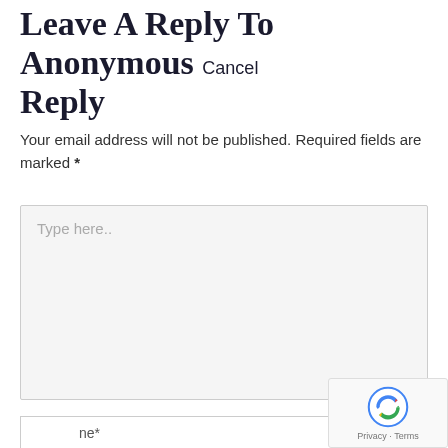Leave A Reply To Anonymous Cancel Reply
Your email address will not be published. Required fields are marked *
[Figure (screenshot): Large textarea input field with placeholder text 'Type here..' and a resize handle in the bottom-right corner]
[Figure (screenshot): Name input field with a dark blue scroll-to-top button (arrow icon) on the left, and a reCAPTCHA badge in the bottom-right corner]